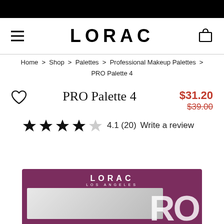LORAC
Home > Shop > Palettes > Professional Makeup Palettes > PRO Palette 4
PRO Palette 4
$31.20 $39.00
4.1 (20)  Write a review
[Figure (photo): LORAC PRO Palette 4 makeup palette in dark purple/burgundy case with mirror interior and 'RO' text visible on right side]